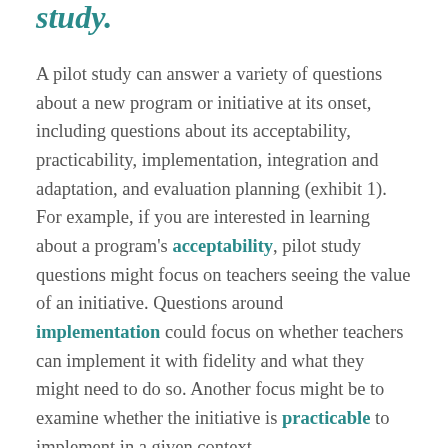study.
A pilot study can answer a variety of questions about a new program or initiative at its onset, including questions about its acceptability, practicability, implementation, integration and adaptation, and evaluation planning (exhibit 1). For example, if you are interested in learning about a program's acceptability, pilot study questions might focus on teachers seeing the value of an initiative. Questions around implementation could focus on whether teachers can implement it with fidelity and what they might need to do so. Another focus might be to examine whether the initiative is practicable to implement in a given context,